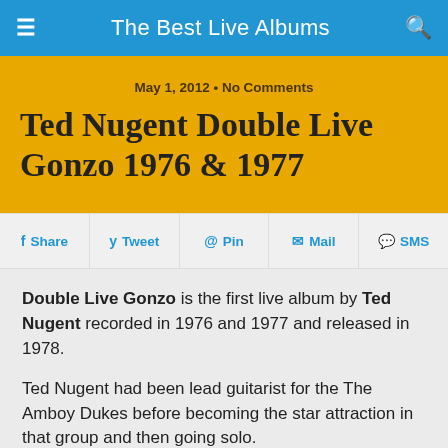The Best Live Albums
May 1, 2012 • No Comments
Ted Nugent Double Live Gonzo 1976 & 1977
Share  Tweet  Pin  Mail  SMS
Double Live Gonzo is the first live album by Ted Nugent recorded in 1976 and 1977 and released in 1978.
Ted Nugent had been lead guitarist for the The Amboy Dukes before becoming the star attraction in that group and then going solo.